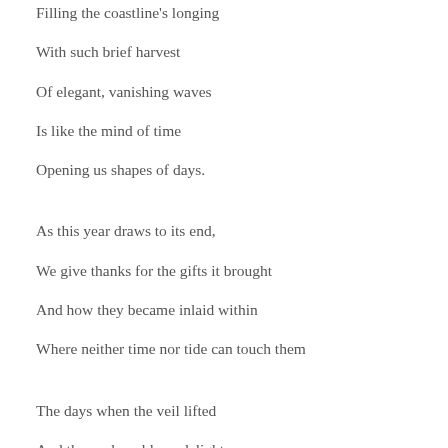Filling the coastline's longing
With such brief harvest
Of elegant, vanishing waves
Is like the mind of time
Opening us shapes of days.
As this year draws to its end,
We give thanks for the gifts it brought
And how they became inlaid within
Where neither time nor tide can touch them
The days when the veil lifted
And the soul could see delight;
When a quiver caressed the heart
In the sheer exuberance of being here.